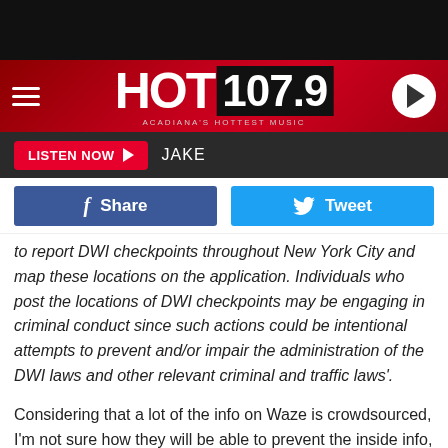[Figure (logo): HOT 107.9 radio station header with hamburger menu and play button]
LISTEN NOW ▶  JAKE
[Figure (infographic): Facebook Share and Twitter Tweet buttons]
to report DWI checkpoints throughout New York City and map these locations on the application. Individuals who post the locations of DWI checkpoints may be engaging in criminal conduct since such actions could be intentional attempts to prevent and/or impair the administration of the DWI laws and other relevant criminal and traffic laws'.
Considering that a lot of the info on Waze is crowdsourced, I'm not sure how they will be able to prevent the inside info, but I hope they do. Drunk driving is deadly, and we want to do